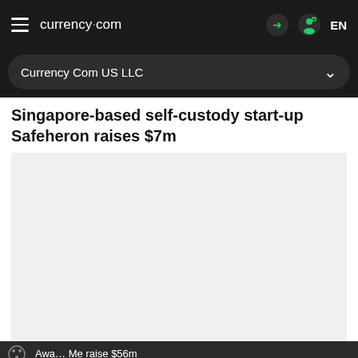currency.com  EN
Currency Com US LLC
Singapore-based self-custody start-up Safeheron raises $7m
[Figure (photo): Light grey placeholder image area for article illustration]
By using the Currency.com website, you agree to the use of cookies.
Award-winning app... Me raise $56m